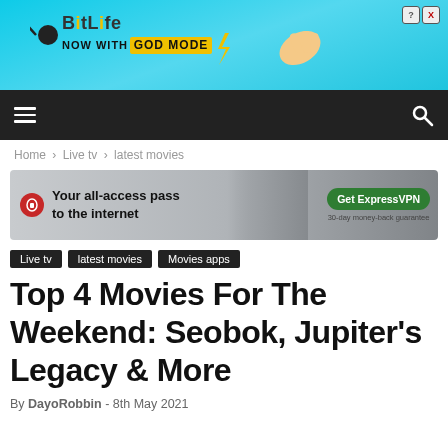[Figure (illustration): BitLife app advertisement banner - cyan/teal background with BitLife logo, 'NOW WITH GOD MODE' text, lightning bolt graphic and pointing hand illustration. Close/help buttons in corner.]
[Figure (screenshot): Dark navigation bar with hamburger menu icon on left and search (magnifying glass) icon on right]
Home › Live tv › latest movies
[Figure (illustration): ExpressVPN advertisement banner - grey background with person using laptop, red shield icon, text 'Your all-access pass to the internet', green button 'Get ExpressVPN', '30-day money-back guarantee' text]
Live tv
latest movies
Movies apps
Top 4 Movies For The Weekend: Seobok, Jupiter's Legacy & More
By DayoRobbin - 8th May 2021